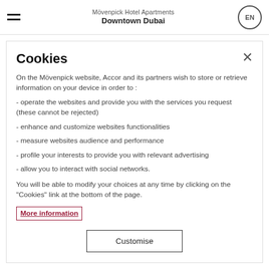Mövenpick Hotel Apartments Downtown Dubai
Cookies
On the Mövenpick website, Accor and its partners wish to store or retrieve information on your device in order to :
- operate the websites and provide you with the services you request (these cannot be rejected)
- enhance and customize websites functionalities
- measure websites audience and performance
- profile your interests to provide you with relevant advertising
- allow you to interact with social networks.
You will be able to modify your choices at any time by clicking on the "Cookies" link at the bottom of the page.
More information